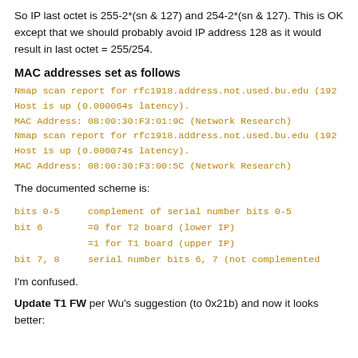So IP last octet is 255-2*(sn & 127) and 254-2*(sn & 127). This is OK except that we should probably avoid IP address 128 as it would result in last octet = 255/254.
MAC addresses set as follows
Nmap scan report for rfc1918.address.not.used.bu.edu (192
Host is up (0.000064s latency).
MAC Address: 08:00:30:F3:01:9C (Network Research)
Nmap scan report for rfc1918.address.not.used.bu.edu (192
Host is up (0.000074s latency).
MAC Address: 08:00:30:F3:00:5C (Network Research)
The documented scheme is:
bits 0-5     complement of serial number bits 0-5
bit 6        =0 for T2 board (lower IP)
             =1 for T1 board (upper IP)
bit 7, 8     serial number bits 6, 7 (not complemented
I'm confused.
Update T1 FW per Wu's suggestion (to 0x21b) and now it looks better: